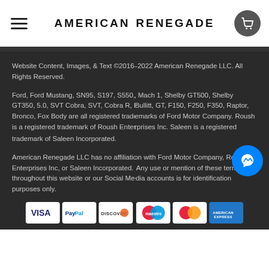American Renegade
Website Content, Images, & Text ©2016-2022 American Renegade LLC. All Rights Reserved.
Ford, Ford Mustang, SN95, S197, S550, Mach 1, Shelby GT500, Shelby GT350, 5.0, SVT Cobra, SVT, Cobra R, Bullitt, GT, F150, F250, F350, Raptor, Bronco, Fox Body are all registered trademarks of Ford Motor Company. Roush is a registered trademark of Roush Enterprises Inc. Saleen is a registered trademark of Saleen Incorporated.
American Renegade LLC has no affiliation with Ford Motor Company, Roush Enterprises Inc, or Saleen Incorporated. Any use or mention of these terms throughout this website or our Social Media accounts is for identification purposes only.
[Figure (other): Payment method logos: VISA, PayPal, DISCOVER, Maestro, MasterCard, American Express]